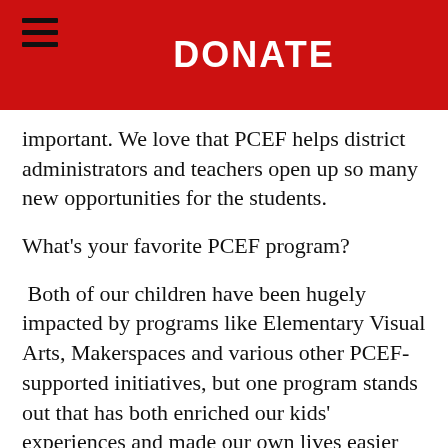DONATE
important. We love that PCEF helps district administrators and teachers open up so many new opportunities for the students.
What’s your favorite PCEF program?
Both of our children have been hugely impacted by programs like Elementary Visual Arts, Makerspaces and various other PCEF-supported initiatives, but one program stands out that has both enriched our kids’ experiences and made our own lives easier (since both of us work full-time) – Afterschool at Trailside Elementary. Especially